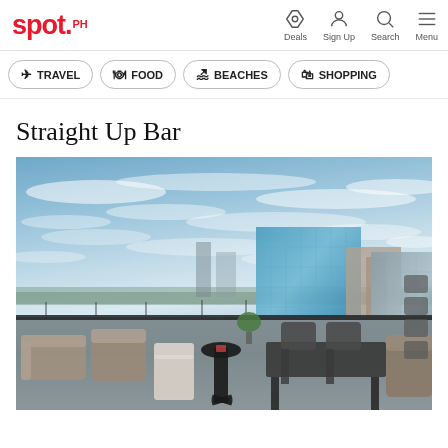spot.ph — Deals, Sign Up, Search, Menu
TRAVEL
FOOD
BEACHES
SHOPPING
Straight Up Bar
[Figure (photo): Rooftop bar terrace with outdoor seating including wicker chairs and dark high-top tables, overlooking a city skyline with glass buildings under a dramatic sky with wispy clouds at dusk.]